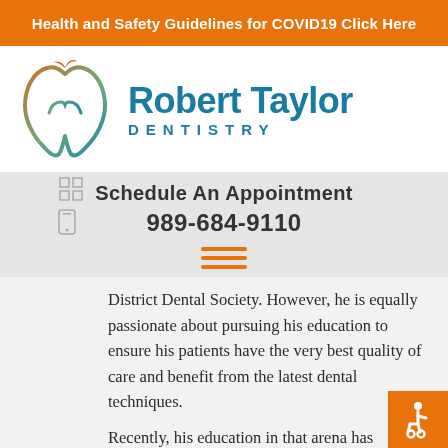Health and Safety Guidelines for COVID19 Click Here
[Figure (logo): Robert Taylor Dentistry tooth logo — stylized tooth outline in orange and teal gradient]
Robert Taylor DENTISTRY
Schedule An Appointment
989-684-9110
[Figure (other): Hamburger menu icon with three orange horizontal lines]
District Dental Society. However, he is equally passionate about pursuing his education to ensure his patients have the very best quality of care and benefit from the latest dental techniques.
Recently, his education in that arena has